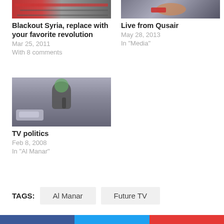[Figure (photo): Book cover with Arabic text and red/orange background]
Blackout Syria, replace with your favorite revolution
Mar 25, 2011
With 8 comments
[Figure (photo): Person in colorful outfit with bow tie]
Live from Qusair
May 28, 2013
In "Media"
[Figure (photo): Woman with dark hair holding microphone on street]
TV politics
Feb 8, 2008
In "Al Manar"
TAGS:
Al Manar
Future TV